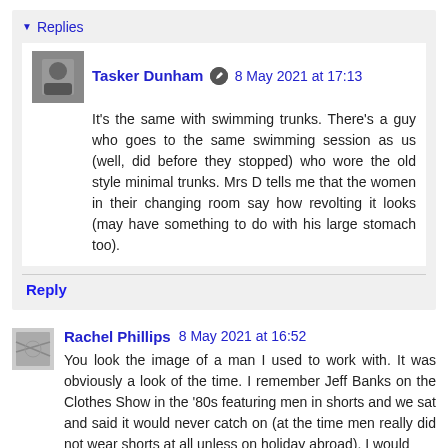Replies
Tasker Dunham  8 May 2021 at 17:13
It's the same with swimming trunks. There's a guy who goes to the same swimming session as us (well, did before they stopped) who wore the old style minimal trunks. Mrs D tells me that the women in their changing room say how revolting it looks (may have something to do with his large stomach too).
Reply
Rachel Phillips  8 May 2021 at 16:52
You look the image of a man I used to work with. It was obviously a look of the time. I remember Jeff Banks on the Clothes Show in the '80s featuring men in shorts and we sat and said it would never catch on (at the time men really did not wear shorts at all unless on holiday abroad). I would